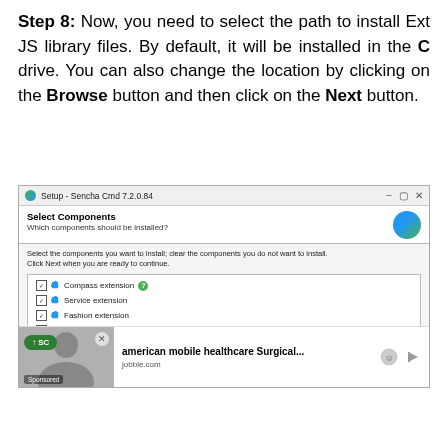Step 8: Now, you need to select the path to install Ext JS library files. By default, it will be installed in the C drive. You can also change the location by clicking on the Browse button and then click on the Next button.
[Figure (screenshot): Windows installer dialog for Sencha Cmd 7.2.0.84 showing Select Components screen with checkboxes for Compass extension, Service extension, Fashion extension, and Packager extension. An advertisement bar is visible at the bottom showing 'american mobile healthcare Surgical...' from jobble.com.]